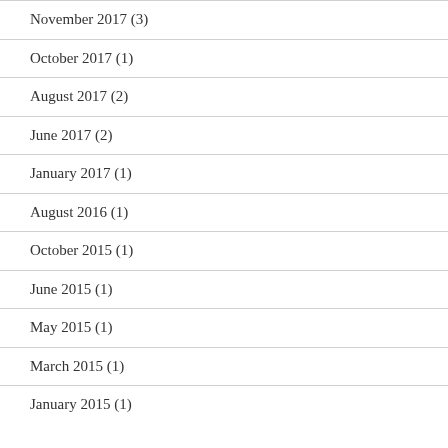November 2017 (3)
October 2017 (1)
August 2017 (2)
June 2017 (2)
January 2017 (1)
August 2016 (1)
October 2015 (1)
June 2015 (1)
May 2015 (1)
March 2015 (1)
January 2015 (1)